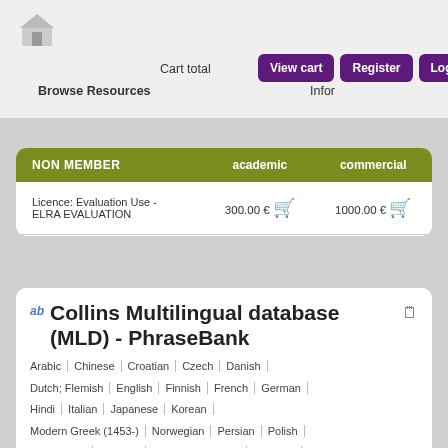Browse Resources  Cart total  Infor  View cart  Register  Login
| NON MEMBER | academic | commercial |
| --- | --- | --- |
| Licence: Evaluation Use - ELRA EVALUATION | 300.00 € | 1000.00 € |
Collins Multilingual database (MLD) - PhraseBank
Arabic | Chinese | Croatian | Czech | Danish | Dutch; Flemish | English | Finnish | French | German | Hindi | Italian | Japanese | Korean | Modern Greek (1453-) | Norwegian | Persian | Polish | Portuguese | Russian | Spanish; Castilian | Swedish | Thai | Turkish | Vietnamese
ID: ELRA-T0377
ISLRN: 452-383-219-228-0